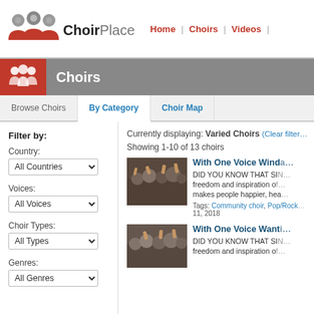[Figure (logo): ChoirPlace logo with three choir singer silhouettes in grey and red, with bold text reading ChoirPlace]
Home | Choirs | Videos |
Choirs
Browse Choirs | By Category | Choir Map
Filter by:
Country: All Countries
Voices: All Voices
Choir Types: All Types
Genres: All Genres
Currently displaying: Varied Choirs (Clear filter…)
Showing 1-10 of 13 choirs
[Figure (photo): Crowd of choir singers waving hands at an event]
With One Voice Winda…
DID YOU KNOW THAT SI… freedom and inspiration o… makes people happier, hea…
Tags: Community choir, Pop/Rock… 11, 2018
[Figure (photo): Another crowd of choir singers at an event]
With One Voice Wanti…
DID YOU KNOW THAT SI… freedom and inspiration o…